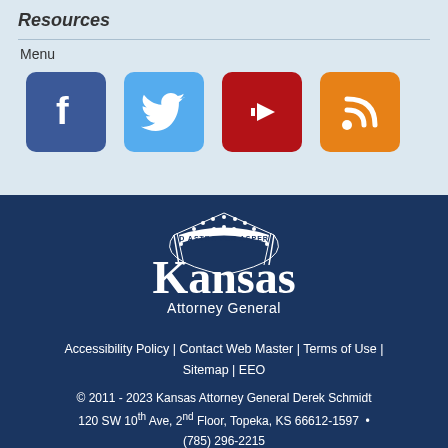Resources
Menu
[Figure (infographic): Social media icons: Facebook (dark blue), Twitter (light blue), YouTube (red), RSS (orange)]
[Figure (logo): Kansas Attorney General seal logo with text 'AD ASTRA PER ASPERA' and 'Kansas Attorney General']
Accessibility Policy | Contact Web Master | Terms of Use | Sitemap | EEO
© 2011 - 2023 Kansas Attorney General Derek Schmidt 120 SW 10th Ave, 2nd Floor, Topeka, KS 66612-1597 • (785) 296-2215